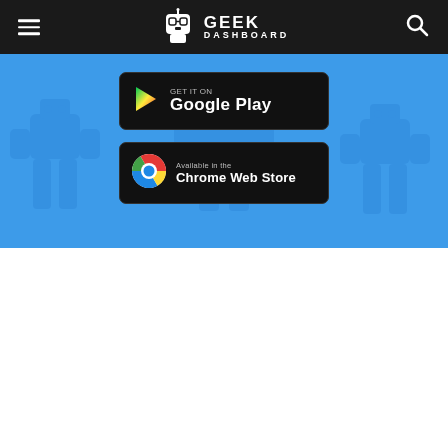Geek Dashboard
[Figure (screenshot): Screenshot of a blue promotional banner showing Google Play and Chrome Web Store download badges on a blue background with robot silhouettes]